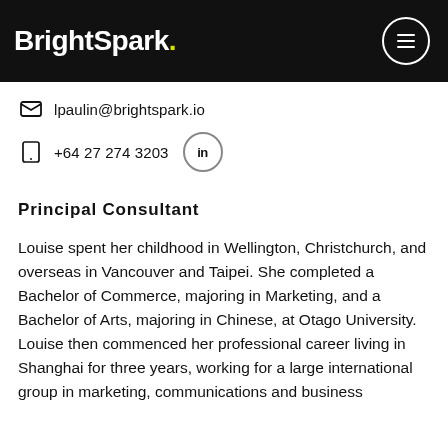BrightSpark.
lpaulin@brightspark.io
+64 27 274 3203
Principal Consultant
Louise spent her childhood in Wellington, Christchurch, and overseas in Vancouver and Taipei. She completed a Bachelor of Commerce, majoring in Marketing, and a Bachelor of Arts, majoring in Chinese, at Otago University. Louise then commenced her professional career living in Shanghai for three years, working for a large international group in marketing, communications and business